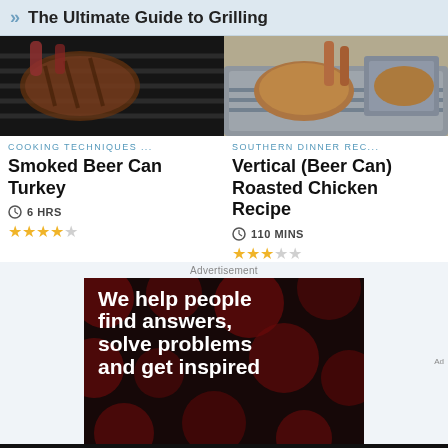The Ultimate Guide to Grilling
[Figure (photo): Grilling meat on a grill grate, close-up]
COOKING TECHNIQUES ...
Smoked Beer Can Turkey
6 HRS
[Figure (photo): Vertical beer can chicken/roasted chicken in roasting pan]
SOUTHERN DINNER REC...
Vertical (Beer Can) Roasted Chicken Recipe
110 MINS
[Figure (infographic): Advertisement banner: black background with dark red polka dots, white bold text reading 'We help people find answers, solve problems and get inspired']
We help people find answers, solve problems and get inspired.
Dotdash meredith